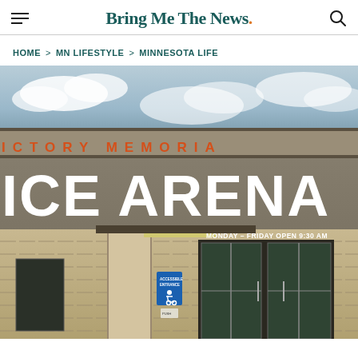Bring Me The News.
HOME > MN LIFESTYLE > MINNESOTA LIFE
[Figure (photo): Exterior photo of Victory Memorial Ice Arena building, showing large white 'ICE ARENA' letters on the facade with orange 'ICTORY MEMORIA' lettering above, brick entrance with handicap accessible sign, glass doors, and a sign reading 'MONDAY – FRIDAY OPEN 9:30 AM']